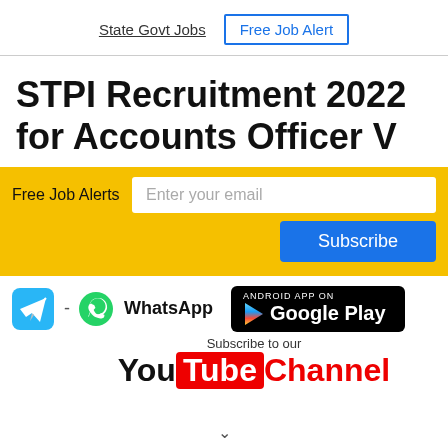State Govt Jobs | Free Job Alert
STPI Recruitment 2022 for Accounts Officer V
[Figure (infographic): Free Job Alerts subscription bar with email input and Subscribe button on yellow background, followed by Telegram icon, WhatsApp icon with text, Google Play badge, and YouTube Channel subscription area]